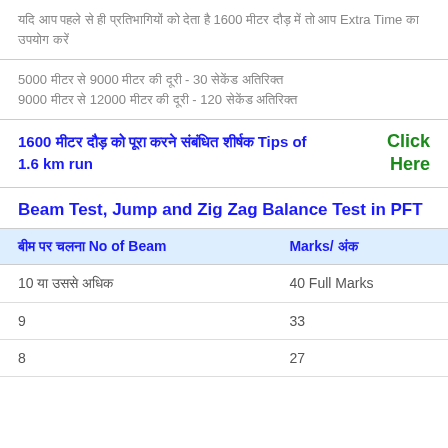यदि आप पहले से ही प्रतिभागियों को देता है 1600 मीटर दौड़ में तो आप Extra Time का उपयोग करें
5000 मीटर से 9000 मीटर की दूरी - 30 सेकेंड अतिरिक्त
9000 मीटर से 12000 मीटर की दूरी - 120 सेकेंड अतिरिक्त
1600 मीटर दौड़ को पूरा करने संबंधित शीर्षक Tips of 1.6 km run   Click Here
Beam Test, Jump and Zig Zag Balance Test in PFT
| बीम पर चलना No of Beam | Marks/ अंक |
| --- | --- |
| 10 या उससे अधिक | 40 Full Marks |
| 9 | 33 |
| 8 | 27 |